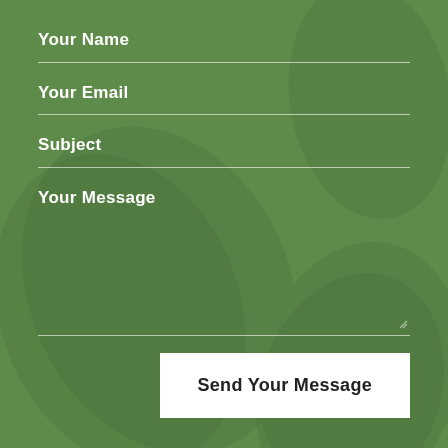Your Name
Your Email
Subject
Your Message
Send Your Message